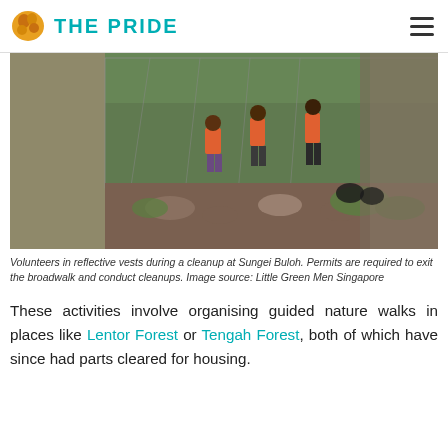THE PRIDE
[Figure (photo): Volunteers in reflective orange vests conducting a cleanup at Sungei Buloh, among rocks and vegetation near a wire fence structure.]
Volunteers in reflective vests during a cleanup at Sungei Buloh. Permits are required to exit the broadwalk and conduct cleanups. Image source: Little Green Men Singapore
These activities involve organising guided nature walks in places like Lentor Forest or Tengah Forest, both of which have since had parts cleared for housing.